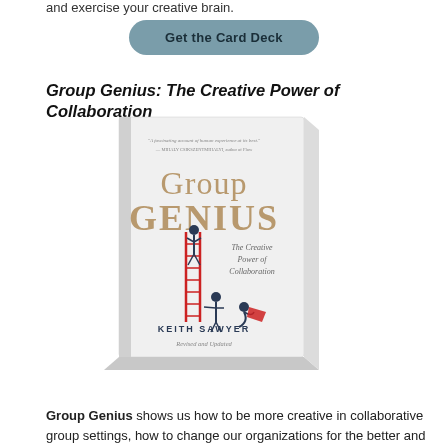and exercise your creative brain.
Get the Card Deck
Group Genius: The Creative Power of Collaboration
[Figure (photo): Book cover of 'Group Genius: The Creative Power of Collaboration' by Keith Sawyer, Revised and Updated edition. White cover with gold/tan title text and three illustrated figures with a red ladder.]
Group Genius shows us how to be more creative in collaborative group settings, how to change our organizations for the better and